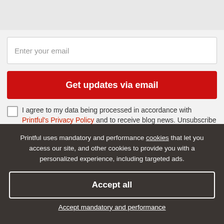[Figure (logo): Partial logo visible at top of page on grey background]
Enter your email
Get updates via email
I agree to my data being processed in accordance with Printful's Privacy Policy and to receive blog news. Unsubscribe at any time.
Printful Inc. 11025 Westlake Dr Charlotte, North
Printful uses mandatory and performance cookies that let you access our site, and other cookies to provide you with a personalized experience, including targeted ads.
Accept all
Accept mandatory and performance